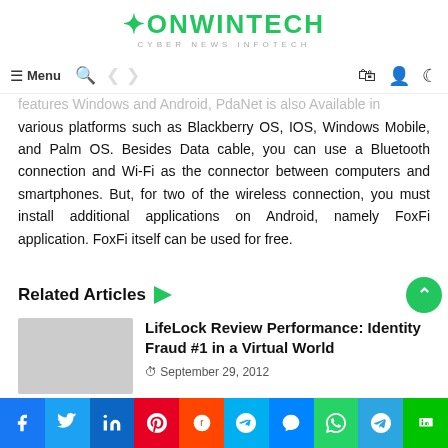ONWINTECH Cyber News InfoTech
features Windows and Android, PdaNet is also Available in various platforms such as Blackberry OS, IOS, Windows Mobile, and Palm OS. Besides Data cable, you can use a Bluetooth connection and Wi-Fi as the connector between computers and smartphones. But, for two of the wireless connection, you must install additional applications on Android, namely FoxFi application. FoxFi itself can be used for free.
Related Articles
LifeLock Review Performance: Identity Fraud #1 in a Virtual World
September 29, 2012